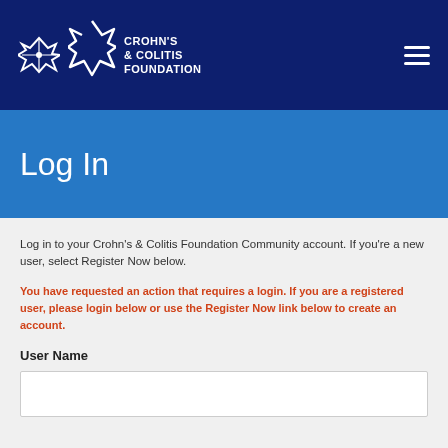Crohn's & Colitis Foundation — navigation bar with logo and hamburger menu
Log In
Log in to your Crohn's & Colitis Foundation Community account. If you're a new user, select Register Now below.
You have requested an action that requires a login. If you are a registered user, please login below or use the Register Now link below to create an account.
User Name